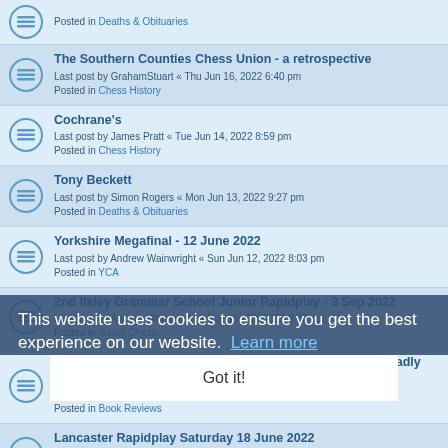Posted in Deaths & Obituaries
The Southern Counties Chess Union - a retrospective
Last post by GrahamStuart « Thu Jun 16, 2022 6:40 pm
Posted in Chess History
Cochrane's
Last post by James Pratt « Tue Jun 14, 2022 8:59 pm
Posted in Chess History
Tony Beckett
Last post by Simon Rogers « Mon Jun 13, 2022 9:27 pm
Posted in Deaths & Obituaries
Yorkshire Megafinal - 12 June 2022
Last post by Andrew Wainwright « Sun Jun 12, 2022 8:03 pm
Posted in YCA
2nd Ilkley Grammar School Junior Rapidplay - 3 Sep 2022
Last post by Andrew Wainwright « Sun Jun 12, 2022 8:00 pm
Posted in Junior Chess
Attacking Strategies for Club Players: How to Create a Deadly Attack on the Enemy King
Last post by John Upham « Fri Jun 10, 2022 12:14 pm
Posted in Book Reviews
Lancaster Rapidplay Saturday 18 June 2022
Last post by Mick Norris « Mon Jun 06, 2022 8:10 am
Posted in Congress Dia...
Andrew Napier 12th September 1951 – 13th May 2022.
Last post by Kevin Thurlow « Tue May 31, 2022 10:29 pm
Posted in Deaths & Obituaries
This website uses cookies to ensure you get the best experience on our website. Learn more
Got it!